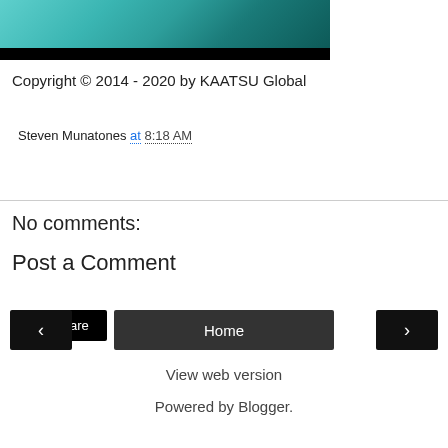[Figure (photo): Partial image of a teal/turquoise water or earth surface with a black band at the bottom]
Copyright © 2014 - 2020 by KAATSU Global
Steven Munatones at 8:18 AM
Share
No comments:
Post a Comment
‹  Home  ›
View web version
Powered by Blogger.